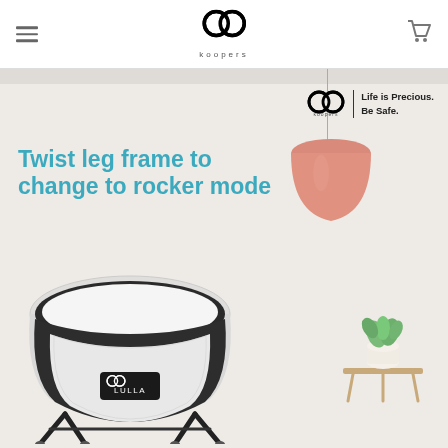koopers website navigation header with logo and cart icon
[Figure (screenshot): Koopers baby bassinet product page screenshot showing 'Twist leg frame to change to rocker mode' hero banner with LULLA bassinet product, pink pendant lamp, small plant on table, and Koopers logo with tagline 'Life is Precious. Be Safe.']